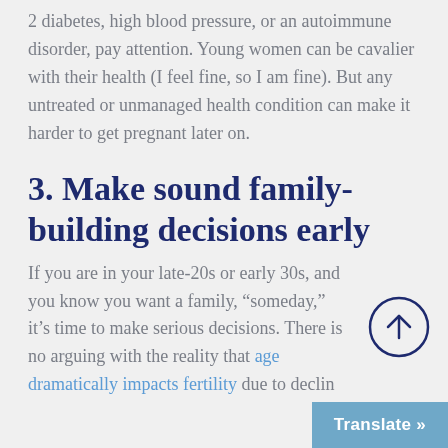2 diabetes, high blood pressure, or an autoimmune disorder, pay attention. Young women can be cavalier with their health (I feel fine, so I am fine). But any untreated or unmanaged health condition can make it harder to get pregnant later on.
3. Make sound family-building decisions early
If you are in your late-20s or early 30s, and you know you want a family, “someday,” it’s time to make serious decisions. There is no arguing with the reality that age dramatically impacts fertility due to declin...